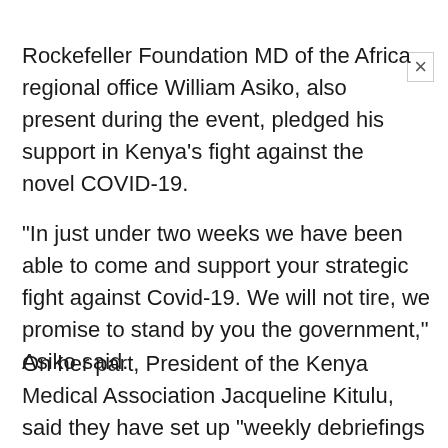Rockefeller Foundation MD of the Africa regional office William Asiko, also present during the event, pledged his support in Kenya's fight against the novel COVID-19.
“In just under two weeks we have been able to come and support your strategic fight against Covid-19. We will not tire, we promise to stand by you the government,” Asiko said.
On her part, President of the Kenya Medical Association Jacqueline Kitulu, said they have set up “weekly debriefings to ensure health care workers get